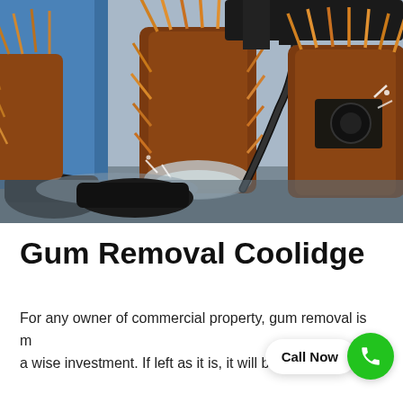[Figure (photo): Close-up photo of industrial gum removal equipment: a person in blue workwear and black boots, with large rotating orange brushes and a high-pressure hose spraying water/foam on a surface.]
Gum Removal Coolidge
For any owner of commercial pro[perty, gum removal is] m[aking] a wise investment. If left as it is, it will become a very [unpleasant and sticky mess. With our professional clean...]